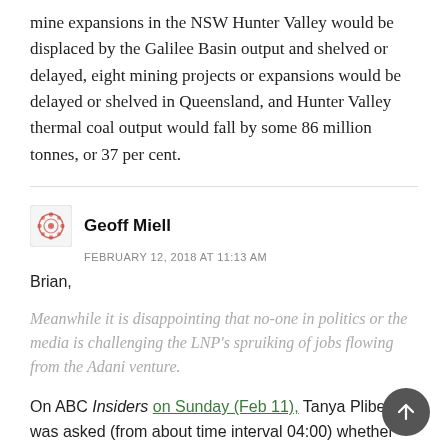mine expansions in the NSW Hunter Valley would be displaced by the Galilee Basin output and shelved or delayed, eight mining projects or expansions would be delayed or shelved in Queensland, and Hunter Valley thermal coal output would fall by some 86 million tonnes, or 37 per cent.
Geoff Miell
FEBRUARY 12, 2018 AT 11:13 AM
Brian,
Meanwhile it is disappointing that no-one in politics or the media is challenging the LNP's spruiking of jobs flowing from the Adani venture.
On ABC Insiders on Sunday (Feb 11), Tanya Plibersek was asked (from about time interval 04:00) whether she supported the Adani Carmichael project. She said (per the